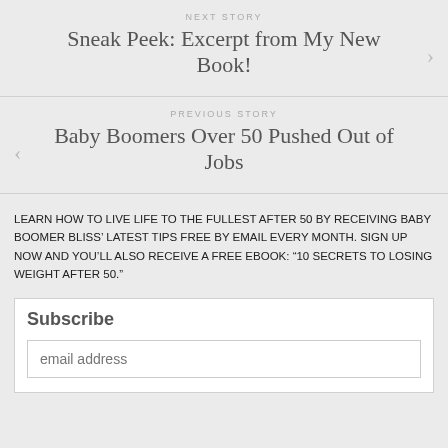NEXT STORY
Sneak Peek: Excerpt from My New Book!
PREVIOUS STORY
Baby Boomers Over 50 Pushed Out of Jobs
LEARN HOW TO LIVE LIFE TO THE FULLEST AFTER 50 BY RECEIVING BABY BOOMER BLISS’ LATEST TIPS FREE BY EMAIL EVERY MONTH. SIGN UP NOW AND YOU’LL ALSO RECEIVE A FREE EBOOK: “10 SECRETS TO LOSING WEIGHT AFTER 50.”
Subscribe
email address